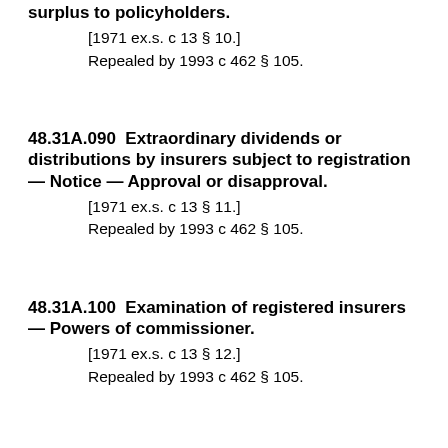surplus to policyholders.
[1971 ex.s. c 13 § 10.]
Repealed by 1993 c 462 § 105.
48.31A.090  Extraordinary dividends or distributions by insurers subject to registration — Notice — Approval or disapproval.
[1971 ex.s. c 13 § 11.]
Repealed by 1993 c 462 § 105.
48.31A.100  Examination of registered insurers — Powers of commissioner.
[1971 ex.s. c 13 § 12.]
Repealed by 1993 c 462 § 105.
48.31A.110  Confidentiality of reports.
[1971 ex.s. c 13 § 13.]
Repealed by 1993 c 462 § 105.